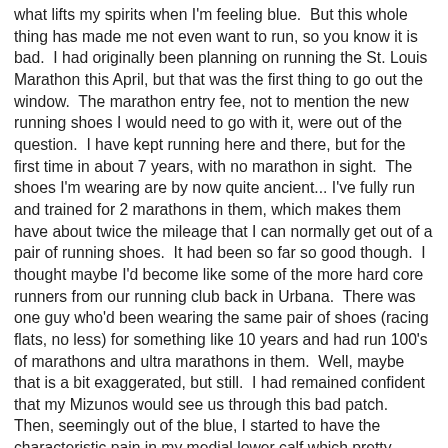what lifts my spirits when I'm feeling blue.  But this whole thing has made me not even want to run, so you know it is bad.  I had originally been planning on running the St. Louis Marathon this April, but that was the first thing to go out the window.  The marathon entry fee, not to mention the new running shoes I would need to go with it, were out of the question.  I have kept running here and there, but for the first time in about 7 years, with no marathon in sight.  The shoes I'm wearing are by now quite ancient... I've fully run and trained for 2 marathons in them, which makes them have about twice the mileage that I can normally get out of a pair of running shoes.  It had been so far so good though.  I thought maybe I'd become like some of the more hard core runners from our running club back in Urbana.  There was one guy who'd been wearing the same pair of shoes (racing flats, no less) for something like 10 years and had run 100's of marathons and ultra marathons in them.  Well, maybe that is a bit exaggerated, but still.  I had remained confident that my Mizunos would see us through this bad patch.  Then, seemingly out of the blue, I started to have the characteristic pain in my medial lower calf which pretty much always indicates that my shoes have reached the end of their use life and I need a fresh pair.  Damn.  Now running shoes are